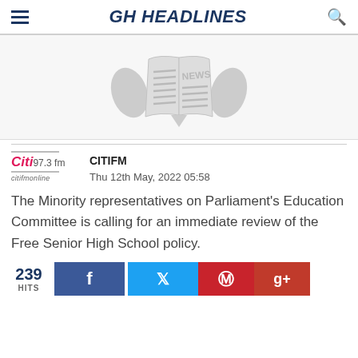GH HEADLINES
[Figure (illustration): Open book with 'NEWS' text, shown in grayscale with decorative wings or hands on sides, used as a news article header image]
CITIFM
Thu 12th May, 2022 05:58
The Minority representatives on Parliament's Education Committee is calling for an immediate review of the Free Senior High School policy.
239 HITS